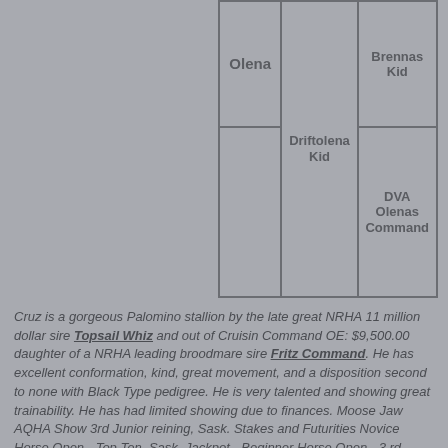| Olena | Driftolena Kid | Brennas Kid |
|  |  | DVA Olenas Command |
Cruz is a gorgeous Palomino stallion by the late great NRHA 11 million dollar sire Topsail Whiz and out of Cruisin Command OE: $9,500.00 daughter of a NRHA leading broodmare sire Fritz Command. He has excellent conformation, kind, great movement, and a disposition second to none with Black Type pedigree. He is very talented and showing great trainability. He has had limited showing due to finances. Moose Jaw AQHA Show 3rd Junior reining, Sask. Stakes and Futurities Novice Horse Open - Top Ten, Sask. Jackpot - Beginner Horse Open - 3rd.
Lena is a cowhorse money earner and is an outstanding mare with great presence, color, talent, and bloodlines. Her sire has LTE: $16,000.00 and has produced earners in excess